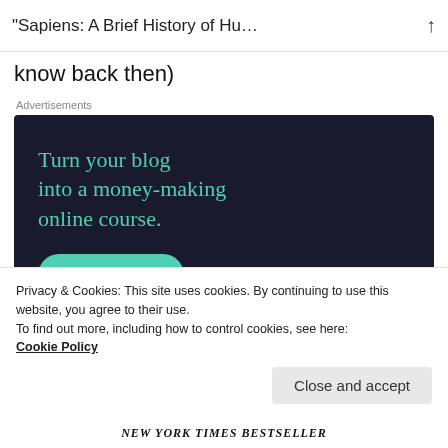“Sapiens: A Brief History of Hu…
know back then)
Advertisements
[Figure (infographic): Advertisement banner with dark navy background. Text reads: 'Turn your blog into a money-making online course.' with a teal 'Learn More' button.]
Privacy & Cookies: This site uses cookies. By continuing to use this website, you agree to their use.
To find out more, including how to control cookies, see here:
Cookie Policy
Close and accept
NEW YORK TIMES BESTSELLER